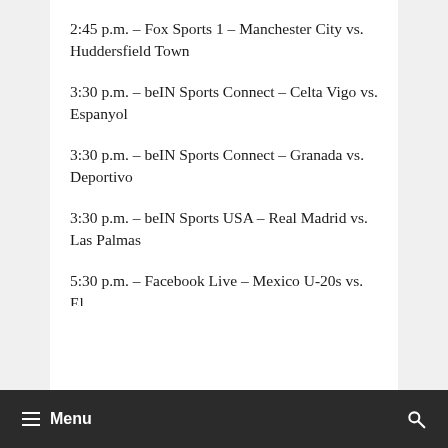2:45 p.m. – Fox Sports 1 – Manchester City vs. Huddersfield Town
3:30 p.m. – beIN Sports Connect – Celta Vigo vs. Espanyol
3:30 p.m. – beIN Sports Connect – Granada vs. Deportivo
3:30 p.m. – beIN Sports USA – Real Madrid vs. Las Palmas
5:30 p.m. – Facebook Live – Mexico U-20s vs. El
≡ Menu  🔍